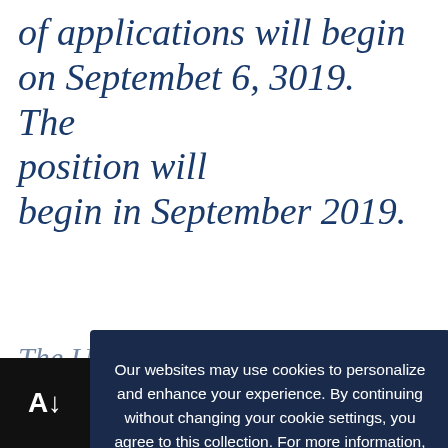of applications will begin on Septembet 6, 3019.  The position will begin in September 2019.
The University of Kansas p... the basis of... race, color, ethnicity, religion, sex, national origin, a... y, disability, status as a
Our websites may use cookies to personalize and enhance your experience. By continuing without changing your cookie settings, you agree to this collection. For more information, please see our UNIVERSITY WEBSITES PRIVACY NOTICE.
OK ✓